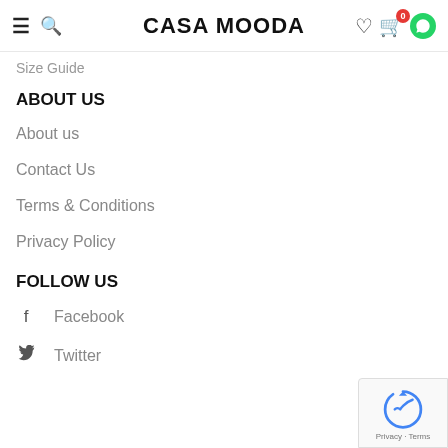CASA MOODA
Size Guide
ABOUT US
About us
Contact Us
Terms & Conditions
Privacy Policy
FOLLOW US
Facebook
Twitter
[Figure (logo): reCAPTCHA badge with Privacy and Terms links]